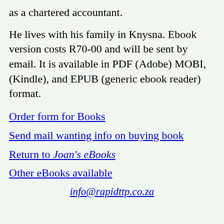as a chartered accountant.
He lives with his family in Knysna. Ebook version costs R70-00 and will be sent by email. It is available in PDF (Adobe) MOBI, (Kindle), and EPUB (generic ebook reader) format.
Order form for Books
Send mail wanting info on buying book
Return to Joan's eBooks
Other eBooks available
info@rapidttp.co.za